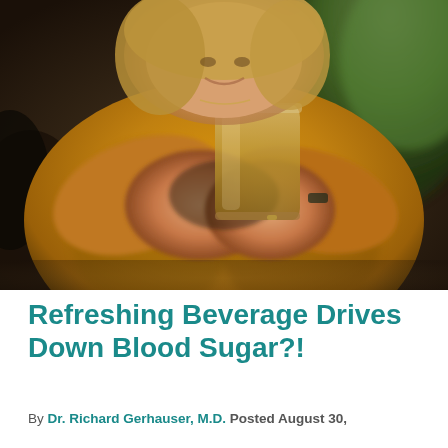[Figure (photo): Middle-aged woman with blonde hair wearing a mustard yellow sweater, smiling and holding up a glass of amber-colored liquid (tea or similar beverage) with both hands. Background shows a blurred green plant and dark chair. Photo is taken indoors.]
Refreshing Beverage Drives Down Blood Sugar?!
By Dr. Richard Gerhauser, M.D. Posted August 30,